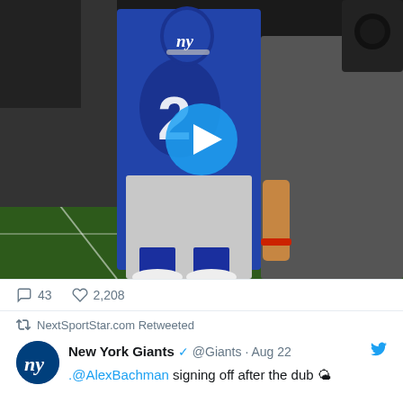[Figure (photo): Video thumbnail of a New York Giants player in blue #26 jersey on the football field sideline with a play button overlay]
43   2,208
NextSportStar.com Retweeted
New York Giants @Giants · Aug 22
.@AlexBachman signing off after the dub 🌤